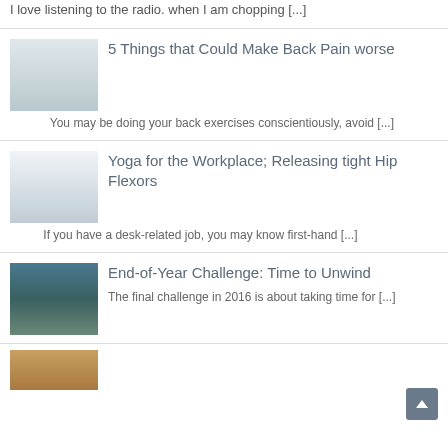I love listening to the radio. when I am chopping [...]
[Figure (photo): Person carrying a teal/blue basket in a room]
5 Things that Could Make Back Pain worse
You may be doing your back exercises conscientiously, avoid [...]
[Figure (photo): Group of people doing yoga with arms raised]
Yoga for the Workplace; Releasing tight Hip Flexors
If you have a desk-related job, you may know first-hand [...]
[Figure (photo): Person sitting by a mountain lake with rocks]
End-of-Year Challenge: Time to Unwind
The final challenge in 2016 is about taking time for [...]
[Figure (photo): Partial image at bottom of page]